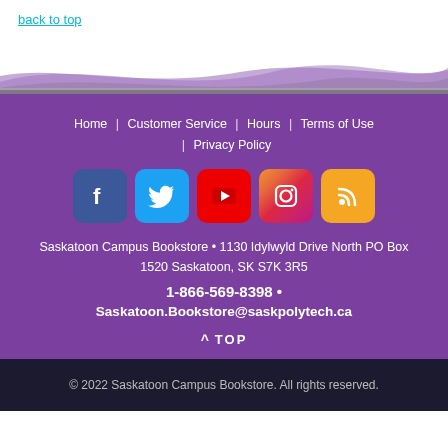back to top
Home | Customer Service | Hours | Terms of Use | Privacy Policy
[Figure (infographic): Social media icons: Facebook, Twitter, YouTube, Instagram, RSS feed]
Saskatoon Campus Bookstore • 1130 Idylwyld Drive North PO Box 1520 Saskatoon, SK S7K 3R5
1-866-569-8398 •
Saskatoon.Bookstore@saskpolytech.ca
^ TOP
© 2022 Saskatoon Campus Bookstore. All rights reserved.